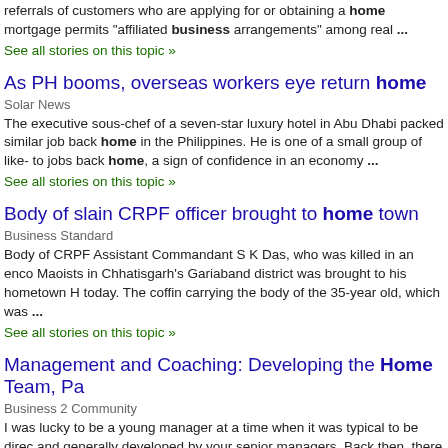referrals of customers who are applying for or obtaining a home mortgage permits "affiliated business arrangements" among real ...
See all stories on this topic »
As PH booms, overseas workers eye return home
Solar News
The executive sous-chef of a seven-star luxury hotel in Abu Dhabi packed similar job back home in the Philippines. He is one of a small group of like- to jobs back home, a sign of confidence in an economy ...
See all stories on this topic »
Body of slain CRPF officer brought to home town
Business Standard
Body of CRPF Assistant Commandant S K Das, who was killed in an enco Maoists in Chhatisgarh's Gariaband district was brought to his hometown H today. The coffin carrying the body of the 35-year old, which was ...
See all stories on this topic »
Management and Coaching: Developing the Home Team, Pa
Business 2 Community
I was lucky to be a young manager at a time when it was typical to be direc and generally developed by your senior managers. Back then, there were e around that all the junior managers got personal attention ...